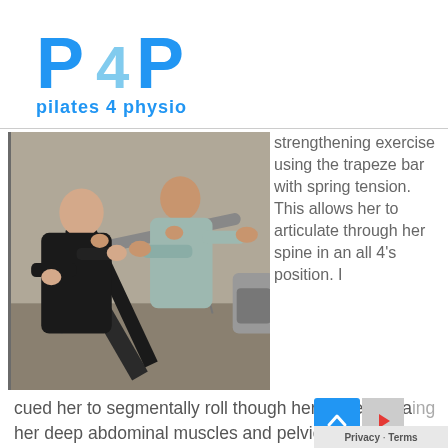[Figure (logo): Pilates 4 Physio logo with blue 'P4P' letters and text 'pilates 4 physio' below]
[Figure (photo): A physiotherapist instructing a woman using a trapeze bar with spring tension on a pilates machine, all-fours exercise position]
strengthening exercise using the trapeze bar with spring tension. This allows her to articulate through her spine in an all 4's position. I cued her to segmentally roll though her spine, engaging her deep abdominal muscles and pelvic floor. This exercise will also strengthen her lower back muscles.